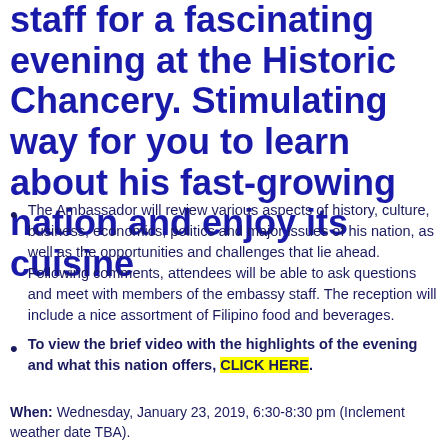staff for a fascinating evening at the Historic Chancery. Stimulating way for you to learn about his fast-growing nation and enjoy its cuisine
The Ambassador will review various aspects of history, culture, business, economics, politics and major issues of his nation, as well as the opportunities and challenges that lie ahead. Following comments, attendees will be able to ask questions and meet with members of the embassy staff. The reception will include a nice assortment of Filipino food and beverages.
To view the brief video with the highlights of the evening and what this nation offers, CLICK HERE.
When: Wednesday, January 23, 2019, 6:30-8:30 pm (Inclement weather date TBA).